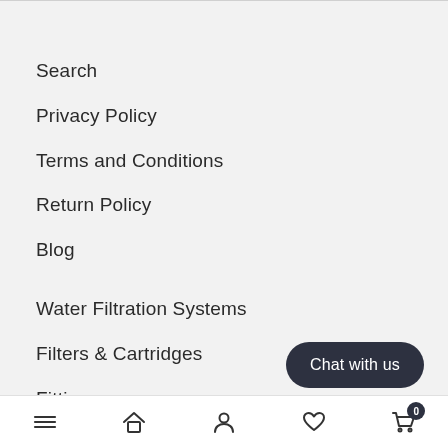Search
Privacy Policy
Terms and Conditions
Return Policy
Blog
Water Filtration Systems
Filters & Cartridges
Fittings
Chat with us
Navigation bar with menu, home, person, heart, and cart (0) icons